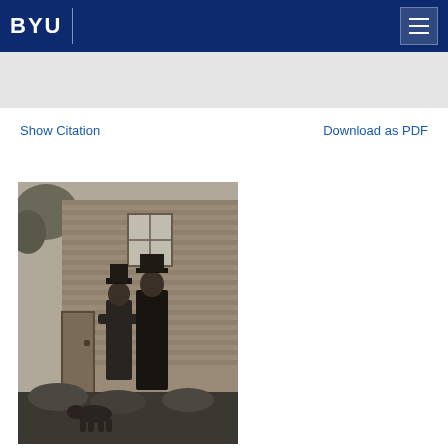BYU
Show Citation
Download as PDF
[Figure (photo): Black and white historical photograph of two men wearing hats and suits standing in front of a brick building. A dog is visible at their feet and there is foliage surrounding them.]